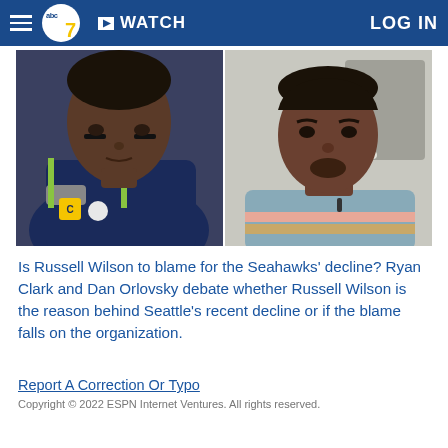abc7 | WATCH | LOG IN
[Figure (photo): Two-panel photo: left panel shows a football player in a Seattle Seahawks navy uniform with a 'C' captain patch; right panel shows a man in a light blue and striped sweater in a studio setting]
Is Russell Wilson to blame for the Seahawks' decline? Ryan Clark and Dan Orlovsky debate whether Russell Wilson is the reason behind Seattle's recent decline or if the blame falls on the organization.
Report A Correction Or Typo
Copyright © 2022 ESPN Internet Ventures. All rights reserved.